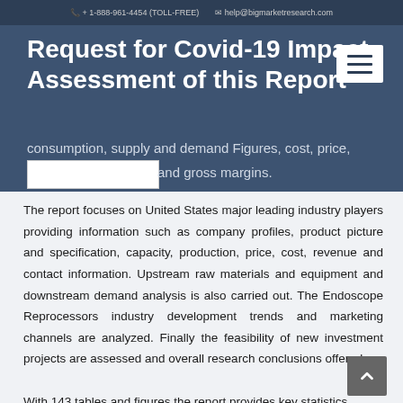+ 1-888-961-4454 (TOLL-FREE)   help@bigmarketresearch.com
Request for Covid-19 Impact Assessment of this Report
consumption, supply and demand Figures, cost, price, revenue and gross margins.
The report focuses on United States major leading industry players providing information such as company profiles, product picture and specification, capacity, production, price, cost, revenue and contact information. Upstream raw materials and equipment and downstream demand analysis is also carried out. The Endoscope Reprocessors industry development trends and marketing channels are analyzed. Finally the feasibility of new investment projects are assessed and overall research conclusions offered.
With 143 tables and figures the report provides key statistics